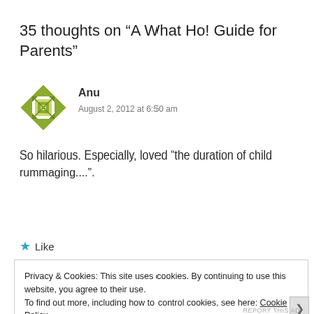35 thoughts on “A What Ho! Guide for Parents”
[Figure (illustration): Green geometric/decorative avatar icon for user Anu]
Anu
August 2, 2012 at 6:50 am
So hilarious. Especially, loved "the duration of child rummaging...."
★ Like
Privacy & Cookies: This site uses cookies. By continuing to use this website, you agree to their use.
To find out more, including how to control cookies, see here: Cookie Policy
Close and accept